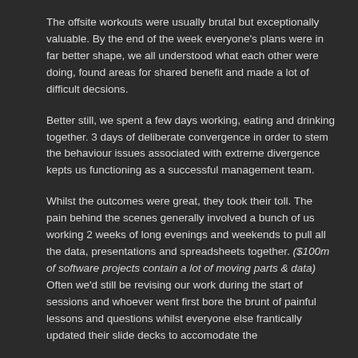The offsite workouts were usually brutal but exceptionally valuable. By the end of the week everyone's plans were in far better shape, we all understood what each other were doing, found areas for shared benefit and made a lot of difficult decsions.
Better still, we spent a few days working, eating and drinking together. 3 days of deliberate convergence in order to stem the behaviour issues associated with extreme divergence kepts us functioning as a successful management team.
Whilst the outcomes were great, they took their toll. The pain behind the scenes generally involved a bunch of us working 2 weeks of long evenings and weekends to pull all the data, presentations and spreadsheets together. ($100m of software projects contain a lot of moving parts & data) Often we'd still be revising our work during the start of sessions and whoever went first bore the brunt of painful lessons and questions whilst everyone else frantically updated their slide decks to accomodate the